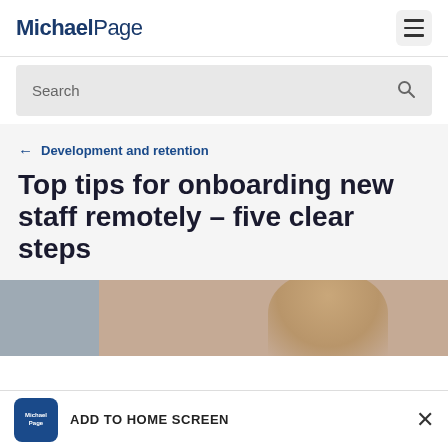Michael Page
Search
← Development and retention
Top tips for onboarding new staff remotely – five clear steps
[Figure (photo): Photo of a person, partially visible, with blurred background]
ADD TO HOME SCREEN